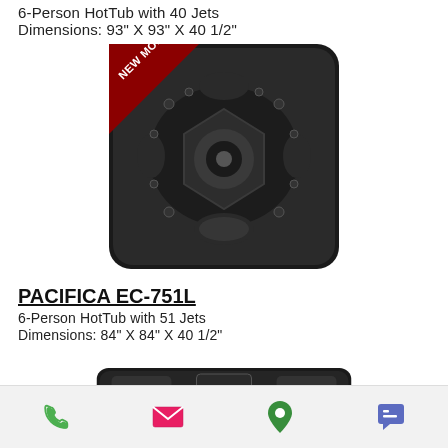6-Person HotTub with 40 Jets
Dimensions: 93" X 93" X 40 1/2"
[Figure (photo): Top-down view of a dark/black 8-person HotTub with 40 jets. A red ribbon banner in the upper-left corner reads 'NEW MODEL'.]
PACIFICA EC-751L
6-Person HotTub with 51 Jets
Dimensions: 84" X 84" X 40 1/2"
[Figure (photo): Partial top-down view of a dark/black 6-person HotTub (PACIFICA EC-751L) with 51 jets, cropped at bottom.]
Phone | Email | Location | Chat